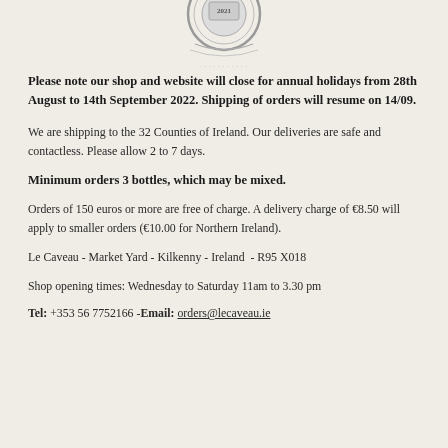[Figure (logo): Circular medallion/seal logo with '2021' text, partially cropped at top of page]
Please note our shop and website will close for annual holidays from 28th August to 14th September 2022. Shipping of orders will resume on 14/09.
We are shipping to the 32 Counties of Ireland. Our deliveries are safe and contactless. Please allow 2 to 7 days.
Minimum orders 3 bottles, which may be mixed.
Orders of 150 euros or more are free of charge. A delivery charge of €8.50 will apply to smaller orders (€10.00 for Northern Ireland).
Le Caveau - Market Yard - Kilkenny - Ireland  - R95 X018
Shop opening times: Wednesday to Saturday 11am to 3.30 pm
Tel: +353 56 7752166 -Email: orders@lecaveau.ie